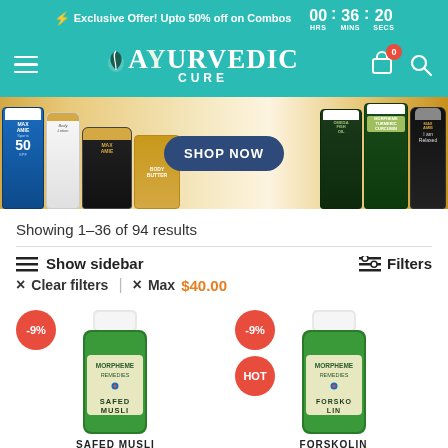⚡ Exclusive Offer! Upto 50% off on Combos  00 : 36 : 20 HRS MINS SECS
[Figure (logo): Ayurvedic Cure logo with leaf icon, teal navigation bar with hamburger menu, cart icon with badge 0, and search icon]
[Figure (infographic): Banner showing various health and beauty products including sunscreen SPF 50, body lotion, face cream, fish oil, turmeric curcumin and other Morpheme Remedies products with a SHOP NOW button]
Showing 1–36 of 94 results
≡ Show sidebar
⊟ Filters
× Clear filters  |  × Max $40.00
[Figure (photo): Morpheme Remedies SAFED MUSLI product bottle in green with white cap, showing -9% discount badge]
[Figure (photo): Morpheme Remedies FORSKOLIN product bottle in green with white cap, showing -9% discount badge and HOT badge]